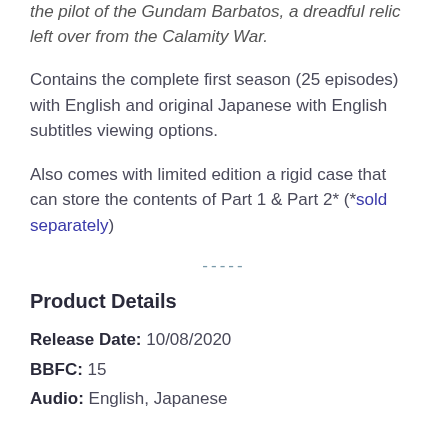the pilot of the Gundam Barbatos, a dreadful relic left over from the Calamity War.
Contains the complete first season (25 episodes) with English and original Japanese with English subtitles viewing options.
Also comes with limited edition a rigid case that can store the contents of Part 1 & Part 2* (*sold separately)
-----
Product Details
Release Date: 10/08/2020
BBFC: 15
Audio: English, Japanese